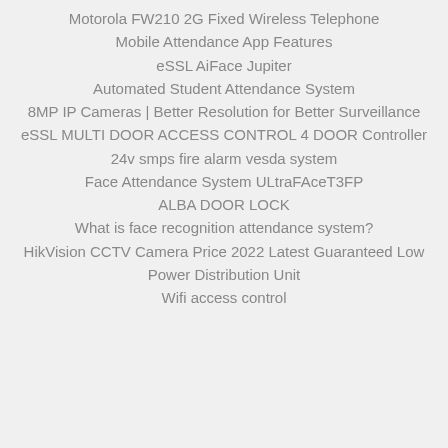Motorola FW210 2G Fixed Wireless Telephone
Mobile Attendance App Features
eSSL AiFace Jupiter
Automated Student Attendance System
8MP IP Cameras | Better Resolution for Better Surveillance
eSSL MULTI DOOR ACCESS CONTROL 4 DOOR Controller
24v smps fire alarm vesda system
Face Attendance System ULtraFAceT3FP
ALBA DOOR LOCK
What is face recognition attendance system?
HikVision CCTV Camera Price 2022 Latest Guaranteed Low
Power Distribution Unit
Wifi access control